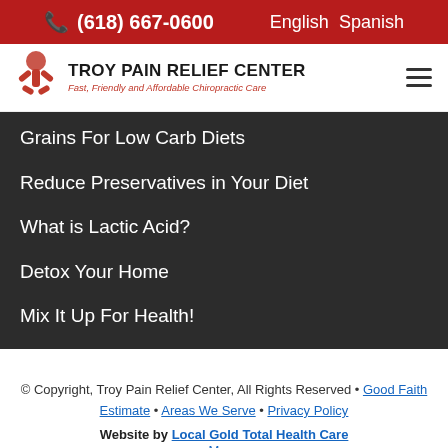☎ (618) 667-0600   English Spanish
[Figure (logo): Troy Pain Relief Center logo with red X figure icon and tagline: Fast, Friendly and Affordable Chiropractic Care]
Grains For Low Carb Diets
Reduce Preservatives in Your Diet
What is Lactic Acid?
Detox Your Home
Mix It Up For Health!
© Copyright, Troy Pain Relief Center, All Rights Reserved • Good Faith Estimate • Areas We Serve • Privacy Policy
Website by Local Gold Total Health Care M...g
[Figure (other): Green circular phone call button overlay at bottom center]
[Figure (other): reCAPTCHA badge at bottom right corner]